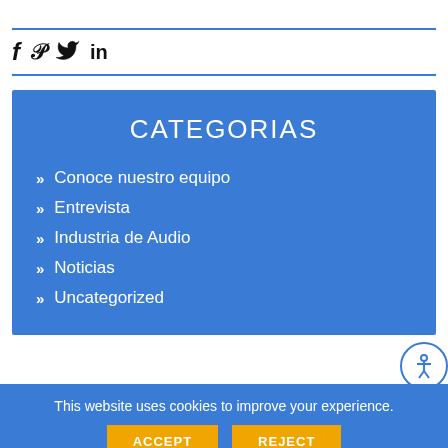[Figure (other): Social media icons: Facebook (f), Pinterest (P), Twitter (bird), LinkedIn (in)]
CATEGORIAS
Conoce nuestro equipo
Entrevista
Industria de Audio
Noticias
Uncategorized
This website uses cookies to improve your experience.
ACCEPT   REJECT